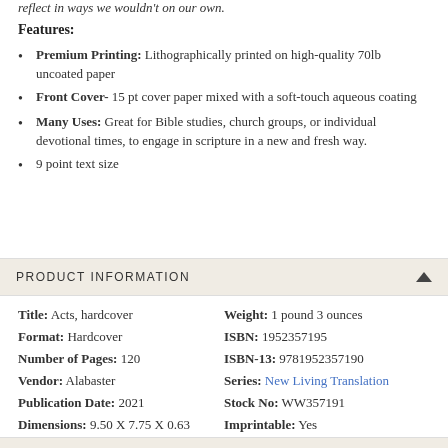reflect in ways we wouldn't on our own.
Features:
Premium Printing: Lithographically printed on high-quality 70lb uncoated paper
Front Cover- 15 pt cover paper mixed with a soft-touch aqueous coating
Many Uses: Great for Bible studies, church groups, or individual devotional times, to engage in scripture in a new and fresh way.
9 point text size
PRODUCT INFORMATION
| Title: | Acts, hardcover | Weight: | 1 pound 3 ounces |
| Format: | Hardcover | ISBN: | 1952357195 |
| Number of Pages: | 120 | ISBN-13: | 9781952357190 |
| Vendor: | Alabaster | Series: | New Living Translation |
| Publication Date: | 2021 | Stock No: | WW357191 |
| Dimensions: | 9.50 X 7.75 X 0.63 (inches) | Imprintable: | Yes |